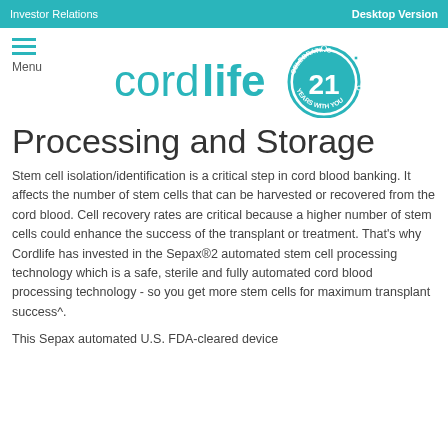Investor Relations | Desktop Version
[Figure (logo): Cordlife logo with 'cordlife' text in teal and a circular badge showing '21 CELEBRATING YEARS WITH YOU']
Processing and Storage
Stem cell isolation/identification is a critical step in cord blood banking. It affects the number of stem cells that can be harvested or recovered from the cord blood. Cell recovery rates are critical because a higher number of stem cells could enhance the success of the transplant or treatment. That's why Cordlife has invested in the Sepax®2 automated stem cell processing technology which is a safe, sterile and fully automated cord blood processing technology - so you get more stem cells for maximum transplant success^.
This Sepax automated U.S. FDA-cleared device...